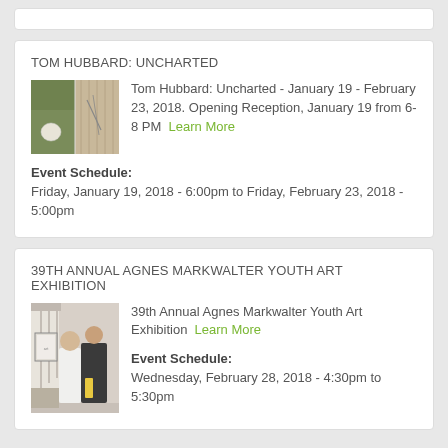TOM HUBBARD: UNCHARTED
[Figure (photo): Two-panel outdoor photo with a white circular object on gravel/grass on the left, and wooden surface with markings on the right.]
Tom Hubbard: Uncharted - January 19 - February 23, 2018. Opening Reception, January 19 from 6-8 PM  Learn More
Event Schedule:
Friday, January 19, 2018 - 6:00pm to Friday, February 23, 2018 - 5:00pm
39TH ANNUAL AGNES MARKWALTER YOUTH ART EXHIBITION
[Figure (photo): Photo of two people standing indoors near stairs, one in white shirt, one in dark jacket holding something yellow.]
39th Annual Agnes Markwalter Youth Art Exhibition  Learn More
Event Schedule:
Wednesday, February 28, 2018 - 4:30pm to 5:30pm